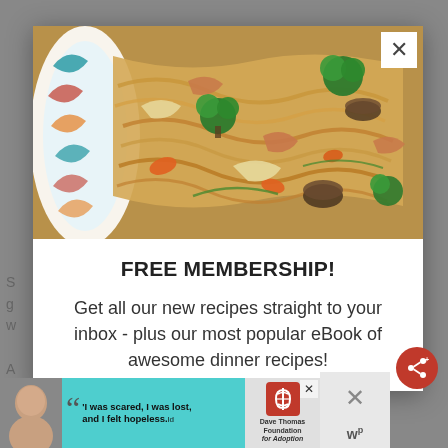[Figure (photo): Close-up food photo of stir-fried noodles with chicken, broccoli, carrots, mushrooms and cabbage in a decorative bowl]
FREE MEMBERSHIP!
Get all our new recipes straight to your inbox - plus our most popular eBook of awesome dinner recipes!
[Figure (photo): Advertisement banner: woman with quote 'I was scared, I was lost, and I felt hopeless.' with Dave Thomas Foundation for Adoption logo]